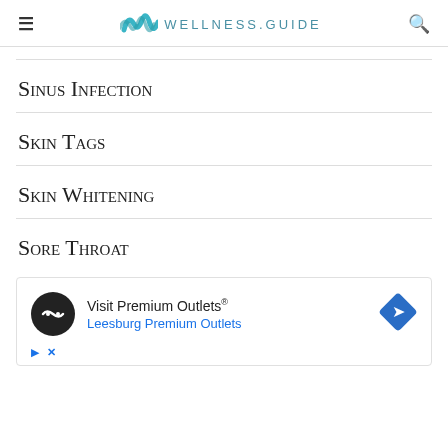WELLNESS.GUIDE
Sinus Infection
Skin Tags
Skin Whitening
Sore Throat
[Figure (other): Advertisement banner for Visit Premium Outlets - Leesburg Premium Outlets with logo and navigation arrow icon]